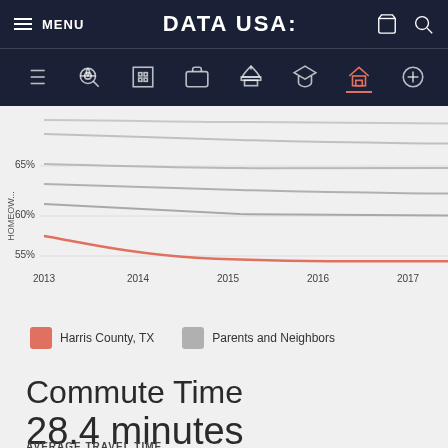MENU | DATA USA: | [cart] [search]
[Figure (line-chart): Homeownership Rate]
Harris County, TX | Parents and Neighbors
Commute Time
28.4 minutes
AVERAGE TRAVEL TIME